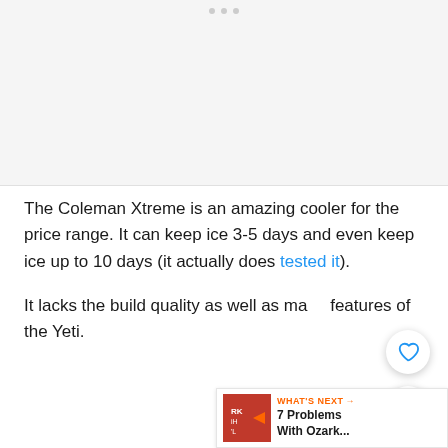[Figure (photo): Blank/placeholder image area at top of page with three dots indicating a carousel or image slider]
The Coleman Xtreme is an amazing cooler for the price range. It can keep ice 3-5 days and even keep ice up to 10 days (it actually does tested it).
It lacks the build quality as well as many features of the Yeti.
[Figure (screenshot): What's Next banner showing '7 Problems With Ozark...' with thumbnail]